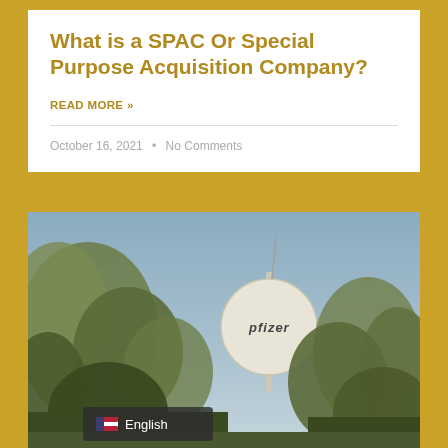What is a SPAC Or Special Purpose Acquisition Company?
READ MORE »
October 16, 2021  •  No Comments
[Figure (photo): Pfizer water tower visible through trees against a blue sky, with an English language selector badge overlay at the bottom left.]